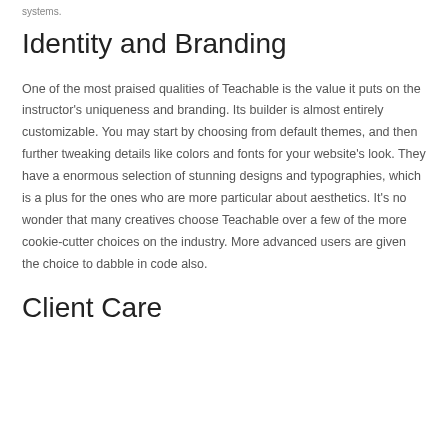systems.
Identity and Branding
One of the most praised qualities of Teachable is the value it puts on the instructor's uniqueness and branding. Its builder is almost entirely customizable. You may start by choosing from default themes, and then further tweaking details like colors and fonts for your website's look. They have a enormous selection of stunning designs and typographies, which is a plus for the ones who are more particular about aesthetics. It's no wonder that many creatives choose Teachable over a few of the more cookie-cutter choices on the industry. More advanced users are given the choice to dabble in code also.
Client Care